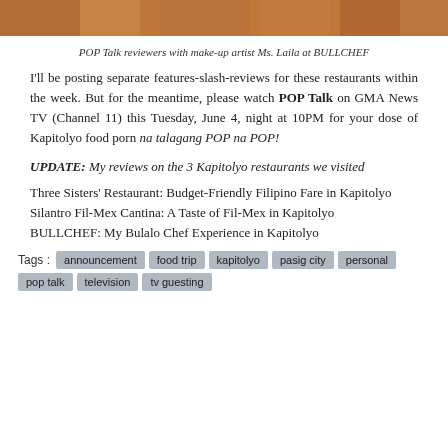[Figure (photo): Top banner photo showing POP Talk reviewers with make-up artist Ms. Laila at BULLCHEF restaurant]
POP Talk reviewers with make-up artist Ms. Laila at BULLCHEF
I'll be posting separate features-slash-reviews for these restaurants within the week. But for the meantime, please watch POP Talk on GMA News TV (Channel 11) this Tuesday, June 4, night at 10PM for your dose of Kapitolyo food porn na talagang POP na POP!
UPDATE: My reviews on the 3 Kapitolyo restaurants we visited
Three Sisters' Restaurant: Budget-Friendly Filipino Fare in Kapitolyo
Silantro Fil-Mex Cantina: A Taste of Fil-Mex in Kapitolyo
BULLCHEF: My Bulalo Chef Experience in Kapitolyo
Tags: announcement  food trip  kapitolyo  pasig city  personal  pop talk  television  tv guesting